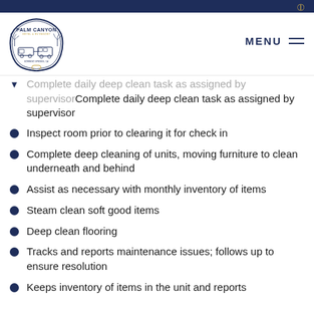Palm Canyon Hotel & RV Resort — Navigation header with logo and MENU
Complete daily deep clean task as assigned by supervisor
Inspect room prior to clearing it for check in
Complete deep cleaning of units, moving furniture to clean underneath and behind
Assist as necessary with monthly inventory of items
Steam clean soft good items
Deep clean flooring
Tracks and reports maintenance issues; follows up to ensure resolution
Keeps inventory of items in the unit and reports